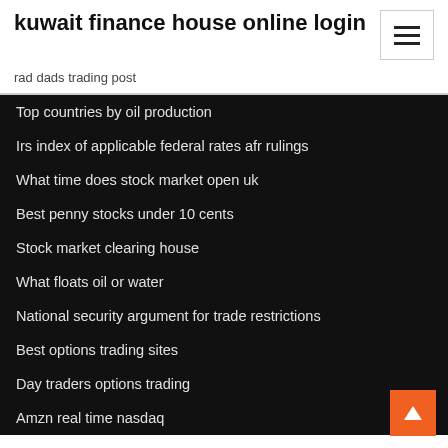kuwait finance house online login
rad dads trading post
Top countries by oil production
Irs index of applicable federal rates afr rulings
What time does stock market open uk
Best penny stocks under 10 cents
Stock market clearing house
What floats oil or water
National security argument for trade restrictions
Best options trading sites
Day traders options trading
Amzn real time nasdaq